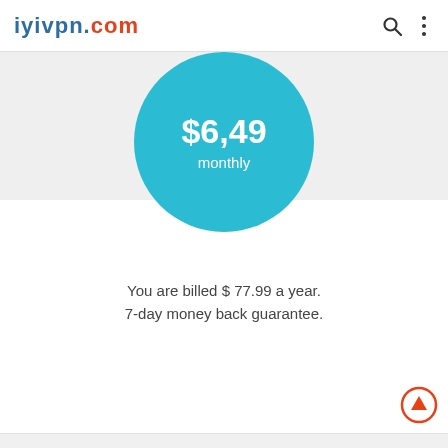iyivpn.com
[Figure (infographic): Teal circle with price $6,49 and label 'monthly']
You are billed $ 77.99 a year. 7-day money back guarantee.
[Figure (other): Green Visit button]
[Figure (other): Red circle scroll-up arrow button at bottom right]